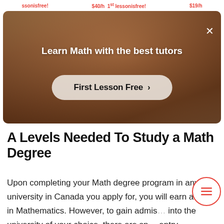ssonisfree!   $40/h 1st lessonisfree!   $19/h
[Figure (photo): Advertisement banner with a person in a red top appearing to write on a whiteboard. Dark warm-toned background. Contains text 'Learn Math with the best tutors' and a button 'First Lesson Free >']
A Levels Needed To Study a Math Degree
Upon completing your Math degree program in any university in Canada you apply for, you will earn a BSc in Mathematics. However, to gain admis... into the university of your choice, there are sp... entry requirements that you must meet. While the